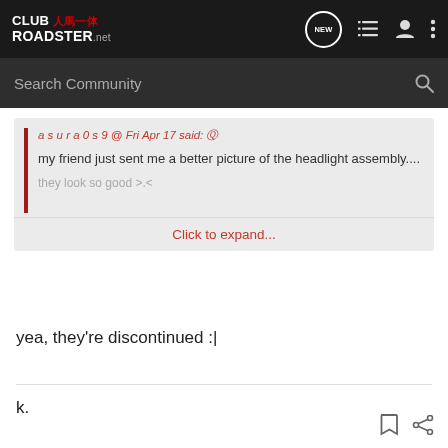CLUB ROADSTER.net - Navigation bar with search
a s u r a 0 s 9 @ Fri Apr 17 said: my friend just sent me a better picture of the headlight assembly.... they look so good >.<
Click to expand...
yea, they're discontinued :|
k.